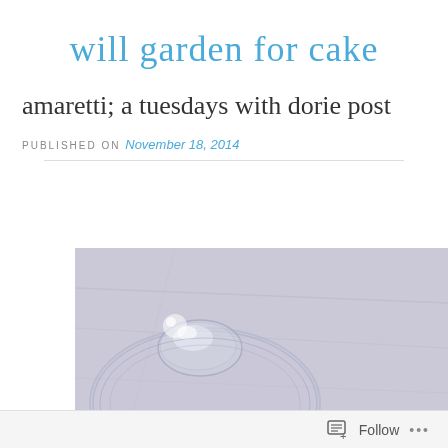will garden for cake
amaretti; a tuesdays with dorie post
PUBLISHED ON November 18, 2014
[Figure (photo): Overhead photo of two clear glass vessels (likely bowls or glasses) on a light purple/lavender textured surface]
Follow ...